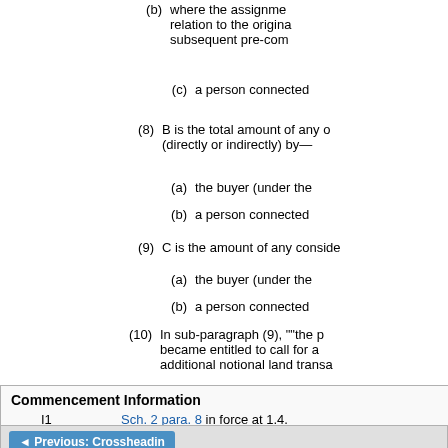(b) where the assignment relation to the origina subsequent pre-com
(c) a person connected
(8) B is the total amount of any o (directly or indirectly) by—
(a) the buyer (under the
(b) a person connected
(9) C is the amount of any conside
(a) the buyer (under the
(b) a person connected
(10) In sub-paragraph (9), ""the pr became entitled to call for a additional notional land transa
| Commencement Information |
| --- |
| I1 | Sch. 2 para. 8 in force at 1.4. |
◄ Previous: Crossheadin